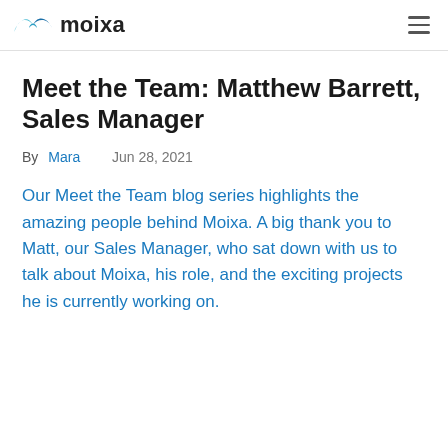moixa
Meet the Team: Matthew Barrett, Sales Manager
By Mara   Jun 28, 2021
Our Meet the Team blog series highlights the amazing people behind Moixa. A big thank you to Matt, our Sales Manager, who sat down with us to talk about Moixa, his role, and the exciting projects he is currently working on.